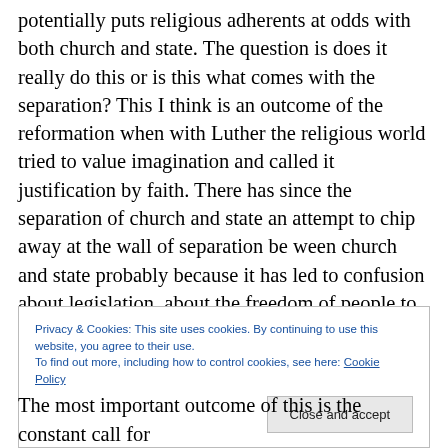potentially puts religious adherents at odds with both church and state. The question is does it really do this or is this what comes with the separation? This I think is an outcome of the reformation when with Luther the religious world tried to value imagination and called it justification by faith. There has since the separation of church and state an attempt to chip away at the wall of separation be ween church and state probably because it has led to confusion about legislation, about the freedom of people to worship God according to the dictates of their conscience, and about the government's support or opposition to particular
Privacy & Cookies: This site uses cookies. By continuing to use this website, you agree to their use.
To find out more, including how to control cookies, see here: Cookie Policy
[Close and accept]
The most important outcome of this is the constant call for